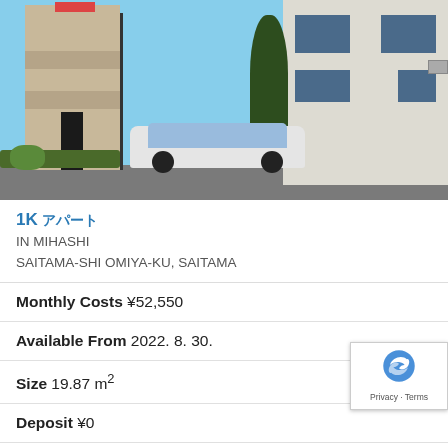[Figure (photo): Exterior photo of a 1K apartment building in Mihashi, Saitama-shi Omiya-ku, with a white car parked in front and a tree visible on the right.]
1K アパート IN MIHASHI SAITAMA-SHI OMIYA-KU, SAITAMA
Monthly Costs ¥52,550
Available From 2022. 8. 30.
Size 19.87 m²
Deposit ¥0
Key Money ¥0